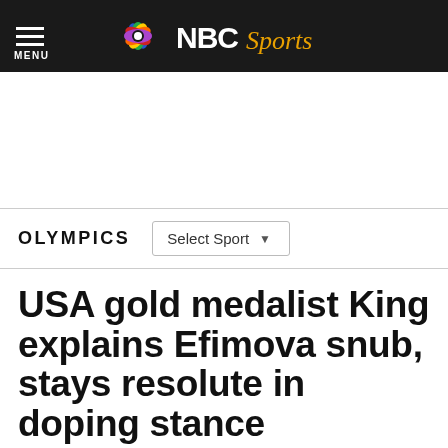NBC Sports
OLYMPICS
USA gold medalist King explains Efimova snub, stays resolute in doping stance
By Nicholas Mendola   Aug 9, 2016, 9:05 AM EDT